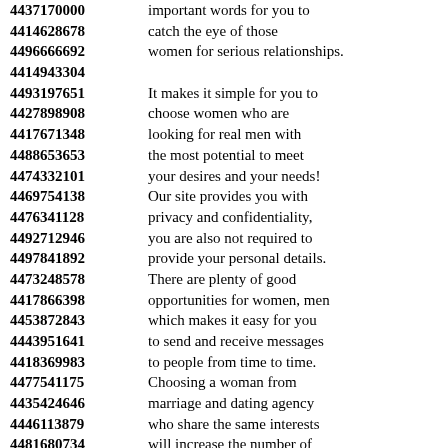4437170000 important words for you to
4414628678 catch the eye of those
4496666692 women for serious relationships.
4414943304
4493197651 It makes it simple for you to
4427898908 choose women who are
4417671348 looking for real men with
4488653653 the most potential to meet
4474332101 your desires and your needs!
4469754138 Our site provides you with
4476341128 privacy and confidentiality,
4492712946 you are also not required to
4497841892 provide your personal details.
4473248578 There are plenty of good
4417866398 opportunities for women, men
4453872843 which makes it easy for you
4443951641 to send and receive messages
4418369983 to people from time to time.
4477541175 Choosing a woman from
4435424646 marriage and dating agency
4446113879 who share the same interests
4481680734 will increase the number of
4472870679 contacts that will help you
4436236985 meet your needs and goals.
4455187891 There are no restrictions and
4497088477 ...